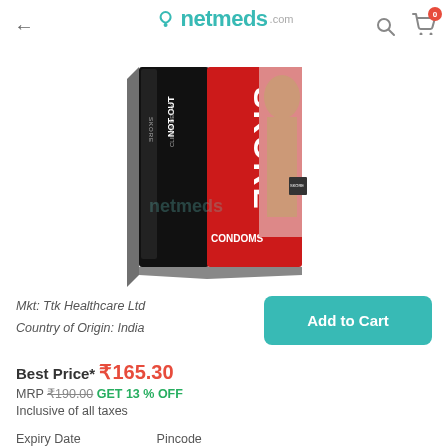netmeds.com
[Figure (photo): SKORE Condoms product box - black and red packaging with 'NOT OUT' branding and partial image of a woman, watermarked with netmeds logo]
Mkt: Ttk Healthcare Ltd
Country of Origin: India
Add to Cart
Best Price* ₹165.30
MRP ₹190.00 GET 13 % OFF
Inclusive of all taxes
Expiry Date    Pincode